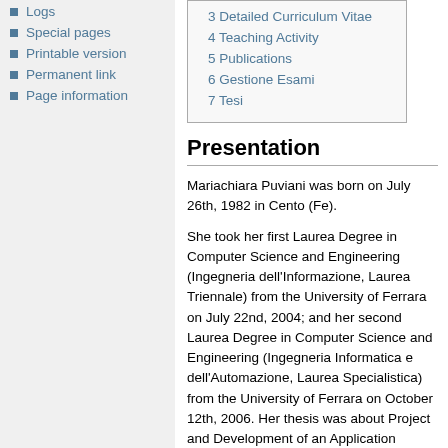Logs
Special pages
Printable version
Permanent link
Page information
| 3 Detailed Curriculum Vitae |
| 4 Teaching Activity |
| 5 Publications |
| 6 Gestione Esami |
| 7 Tesi |
Presentation
Mariachiara Puviani was born on July 26th, 1982 in Cento (Fe).
She took her first Laurea Degree in Computer Science and Engineering (Ingegneria dell'Informazione, Laurea Triennale) from the University of Ferrara on July 22nd, 2004; and her second Laurea Degree in Computer Science and Engineering (Ingegneria Informatica e dell'Automazione, Laurea Specialistica) from the University of Ferrara on October 12th, 2006. Her thesis was about Project and Development of an Application supporting web marketing and her final